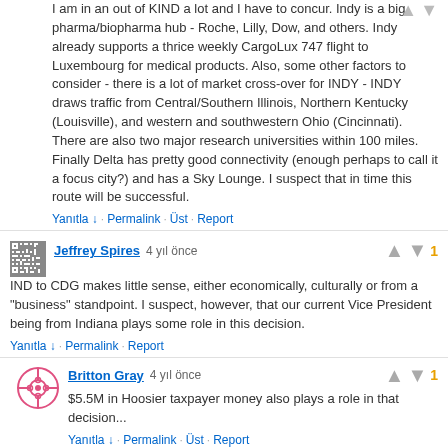I am in an out of KIND a lot and I have to concur. Indy is a big pharma/biopharma hub - Roche, Lilly, Dow, and others. Indy already supports a thrice weekly CargoLux 747 flight to Luxembourg for medical products. Also, some other factors to consider - there is a lot of market cross-over for INDY - INDY draws traffic from Central/Southern Illinois, Northern Kentucky (Louisville), and western and southwestern Ohio (Cincinnati). There are also two major research universities within 100 miles. Finally Delta has pretty good connectivity (enough perhaps to call it a focus city?) and has a Sky Lounge. I suspect that in time this route will be successful.
Yanıtla ↓ · Permalink · Üst · Report
Jeffrey Spires 4 yıl önce
IND to CDG makes little sense, either economically, culturally or from a "business" standpoint. I suspect, however, that our current Vice President being from Indiana plays some role in this decision.
Yanıtla ↓ · Permalink · Report
Britton Gray 4 yıl önce
$5.5M in Hoosier taxpayer money also plays a role in that decision...
Yanıtla ↓ · Permalink · Üst · Report